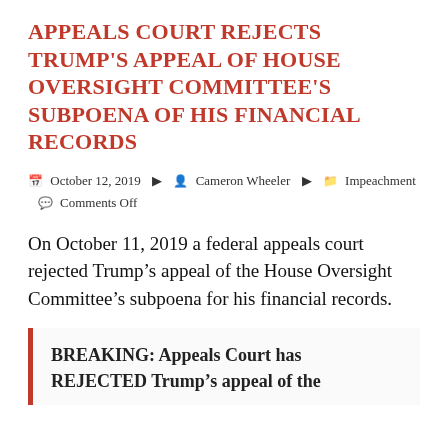APPEALS COURT REJECTS TRUMP'S APPEAL OF HOUSE OVERSIGHT COMMITTEE'S SUBPOENA OF HIS FINANCIAL RECORDS
October 12, 2019  Cameron Wheeler  Impeachment  Comments Off
On October 11, 2019 a federal appeals court rejected Trump's appeal of the House Oversight Committee's subpoena for his financial records.
BREAKING: Appeals Court has REJECTED Trump's appeal of the